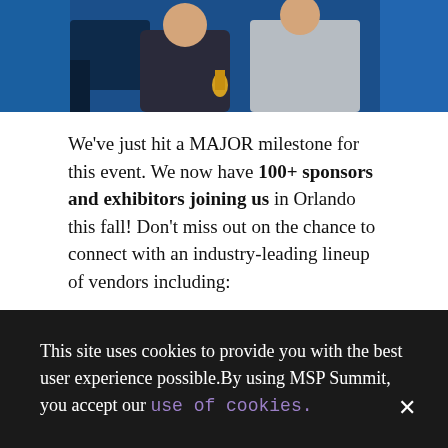[Figure (photo): Cropped photo of people at an event, partially visible at top of page. Blue background visible.]
We've just hit a MAJOR milestone for this event. We now have 100+ sponsors and exhibitors joining us in Orlando this fall! Don't miss out on the chance to connect with an industry-leading lineup of vendors including:
Cisco
Hewlett Packard Enterprise (partially visible)
This site uses cookies to provide you with the best user experience possible.By using MSP Summit, you accept our use of cookies.